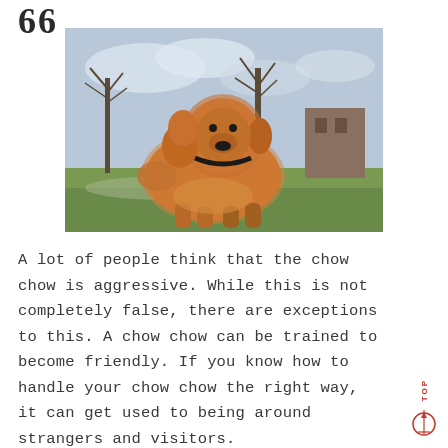66
[Figure (photo): A fluffy golden-brown Chow Chow dog standing on grass in a park, with bare trees and a wooden fence in the background under a cloudy sky.]
A lot of people think that the chow chow is aggressive. While this is not completely false, there are exceptions to this. A chow chow can be trained to become friendly. If you know how to handle your chow chow the right way, it can get used to being around strangers and visitors.